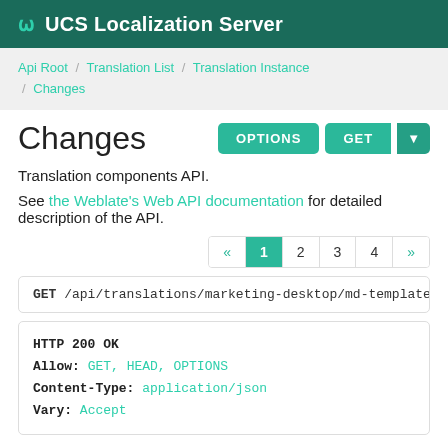UCS Localization Server
Api Root / Translation List / Translation Instance / Changes
Changes
Translation components API.
See the Weblate's Web API documentation for detailed description of the API.
« 1 2 3 4 »
GET /api/translations/marketing-desktop/md-templates/en/c
HTTP 200 OK
Allow: GET, HEAD, OPTIONS
Content-Type: application/json
Vary: Accept